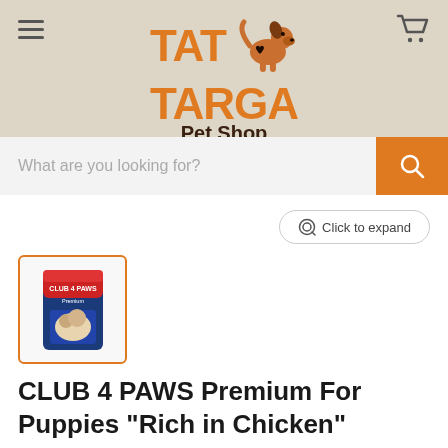[Figure (logo): TatTarga Pet Shop logo with orange text and dog silhouette illustration]
What are you looking for?
Click to expand
[Figure (photo): Thumbnail of CLUB 4 PAWS Premium For Puppies dog food bag]
CLUB 4 PAWS Premium For Puppies "Rich in Chicken"